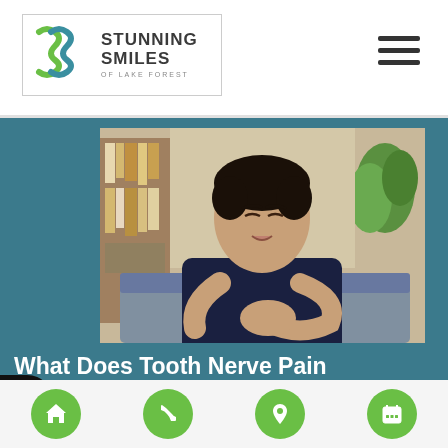Stunning Smiles of Lake Forest — navigation header with logo and hamburger menu
[Figure (photo): Young man sitting on a couch holding his cheek/jaw in pain, wearing a dark navy t-shirt, with bookshelves and a plant in the background]
What Does Tooth Nerve Pain Indicate?
There may not be a more irritating, and quite frankly
Bottom navigation bar with home, phone, location, and calendar icon buttons